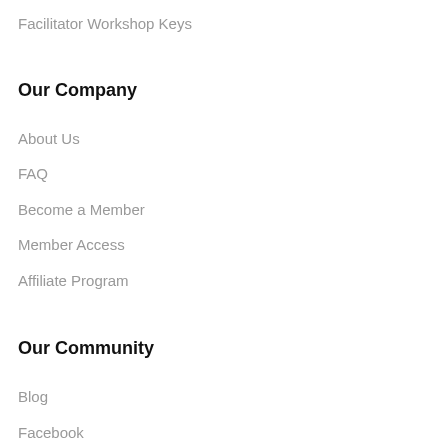Facilitator Workshop Keys
Our Company
About Us
FAQ
Become a Member
Member Access
Affiliate Program
Our Community
Blog
Facebook
Twitter
LinkedIn